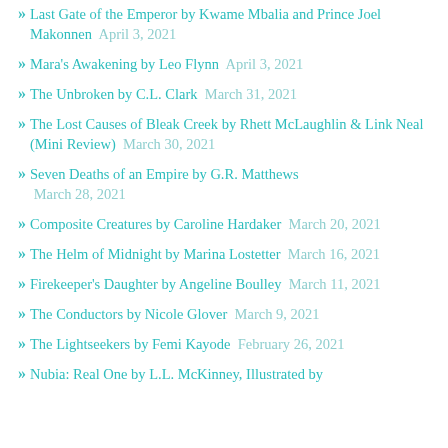Last Gate of the Emperor by Kwame Mbalia and Prince Joel Makonnen  April 3, 2021
Mara's Awakening by Leo Flynn  April 3, 2021
The Unbroken by C.L. Clark  March 31, 2021
The Lost Causes of Bleak Creek by Rhett McLaughlin & Link Neal (Mini Review)  March 30, 2021
Seven Deaths of an Empire by G.R. Matthews  March 28, 2021
Composite Creatures by Caroline Hardaker  March 20, 2021
The Helm of Midnight by Marina Lostetter  March 16, 2021
Firekeeper's Daughter by Angeline Boulley  March 11, 2021
The Conductors by Nicole Glover  March 9, 2021
The Lightseekers by Femi Kayode  February 26, 2021
Nubia: Real One by L.L. McKinney, Illustrated by